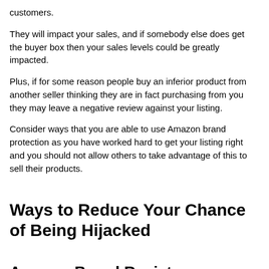customers.
They will impact your sales, and if somebody else does get the buyer box then your sales levels could be greatly impacted.
Plus, if for some reason people buy an inferior product from another seller thinking they are in fact purchasing from you they may leave a negative review against your listing.
Consider ways that you are able to use Amazon brand protection as you have worked hard to get your listing right and you should not allow others to take advantage of this to sell their products.
Ways to Reduce Your Chance of Being Hijacked
Amazon Brand Registry